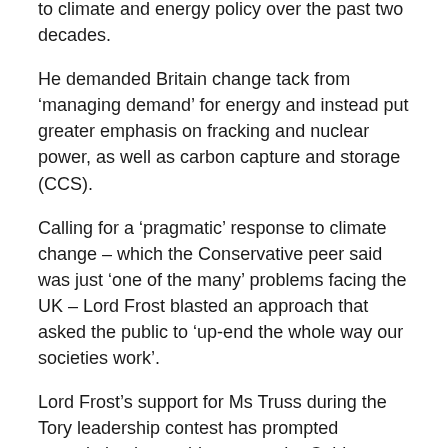to climate and energy policy over the past two decades.
He demanded Britain change tack from ‘managing demand’ for energy and instead put greater emphasis on fracking and nuclear power, as well as carbon capture and storage (CCS).
Calling for a ‘pragmatic’ response to climate change – which the Conservative peer said was just ‘one of the many’ problems facing the UK – Lord Frost blasted an approach that asked the public to ‘up-end the whole way our societies work’.
Lord Frost’s support for Ms Truss during the Tory leadership contest has prompted speculation he could return to the Cabinet – or become the new PM’s chief of staff – should the Foreign Secretary win the contest to replace Boris Johnson.